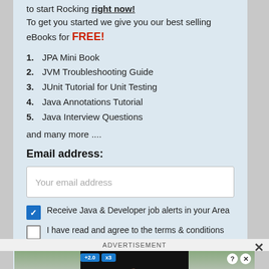to start Rocking right now! To get you started we give you our best selling eBooks for FREE!
1. JPA Mini Book
2. JVM Troubleshooting Guide
3. JUnit Tutorial for Unit Testing
4. Java Annotations Tutorial
5. Java Interview Questions
and many more ....
Email address:
Your email address
Receive Java & Developer job alerts in your Area
I have read and agree to the terms & conditions
Sign up
ADVERTISEMENT
[Figure (screenshot): Advertisement banner showing a mobile game called Hold and Move with forest background]